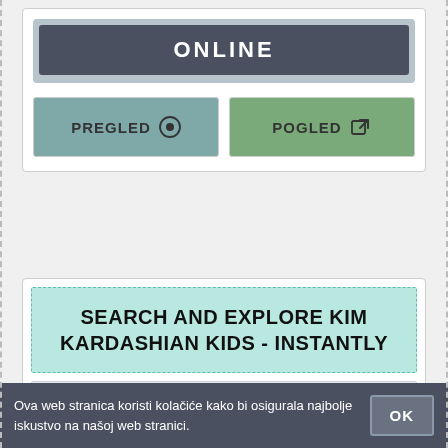[Figure (screenshot): Online status card with dark header button labeled ONLINE and two buttons: PREGLED (teal) with eye icon and POGLED (green) with external link icon]
[Figure (screenshot): Search card with mint green title box 'SEARCH AND EXPLORE KIM KARDASHIAN KIDS - INSTANTLY', URL bar showing https://www.search.com/web?..., and description text about Search.com]
Ova web stranica koristi kolačiće kako bi osigurala najbolje iskustvo na našoj web stranici.
OK